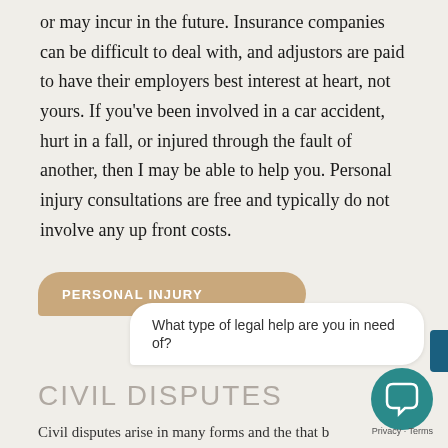or may incur in the future. Insurance companies can be difficult to deal with, and adjustors are paid to have their employers best interest at heart, not yours. If you've been involved in a car accident, hurt in a fall, or injured through the fault of another, then I may be able to help you. Personal injury consultations are free and typically do not involve any up front costs.
PERSONAL INJURY
What type of legal help are you in need of?
CIVIL DISPUTES
Civil disputes arise in many forms and the that b...